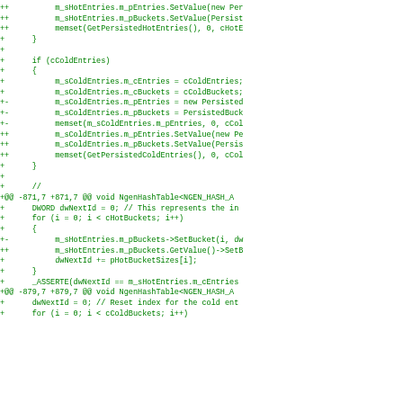[Figure (screenshot): Source code diff showing C++ code changes with green +/++/+- prefixes, displaying modifications to hash table initialization logic including m_sHotEntries, m_sColdEntries operations, SetValue calls, memset calls, and loop structures.]